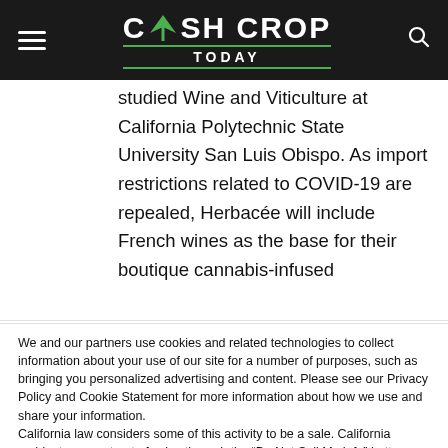CASH CROP TODAY
studied Wine and Viticulture at California Polytechnic State University San Luis Obispo. As import restrictions related to COVID-19 are repealed, Herbacée will include French wines as the base for their boutique cannabis-infused
We and our partners use cookies and related technologies to collect information about your use of our site for a number of purposes, such as bringing you personalized advertising and content. Please see our Privacy Policy and Cookie Statement for more information about how we use and share your information.
California law considers some of this activity to be a sale. California residents can opt-out of sales through the “Do Not Sell My Info” button.
Cookie settings  ACCEPT